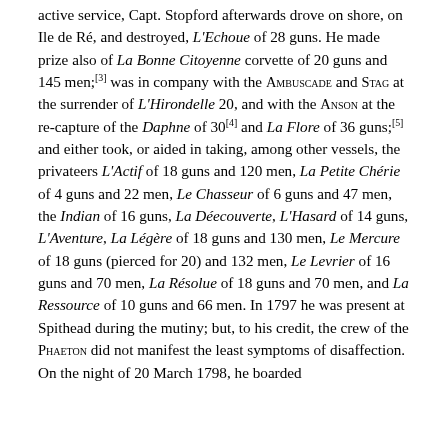active service, Capt. Stopford afterwards drove on shore, on Ile de Ré, and destroyed, L'Echoue of 28 guns. He made prize also of La Bonne Citoyenne corvette of 20 guns and 145 men;[3] was in company with the AMBUSCADE and STAG at the surrender of L'Hirondelle 20, and with the ANSON at the re-capture of the Daphne of 30[4] and La Flore of 36 guns;[5] and either took, or aided in taking, among other vessels, the privateers L'Actif of 18 guns and 120 men, La Petite Chérie of 4 guns and 22 men, Le Chasseur of 6 guns and 47 men, the Indian of 16 guns, La Déecouverte, L'Hasard of 14 guns, L'Aventure, La Légère of 18 guns and 130 men, Le Mercure of 18 guns (pierced for 20) and 132 men, Le Levrier of 16 guns and 70 men, La Résolue of 18 guns and 70 men, and La Ressource of 10 guns and 66 men. In 1797 he was present at Spithead during the mutiny; but, to his credit, the crew of the PHAETON did not manifest the least symptoms of disaffection. On the night of 20 March 1798, he boarded...